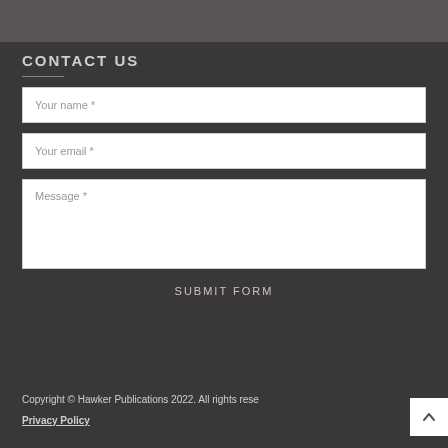CONTACT US
Your name *
Your email *
Message *
SUBMIT FORM
Copyright © Hawker Publications 2022. All rights reserved.
Privacy Policy